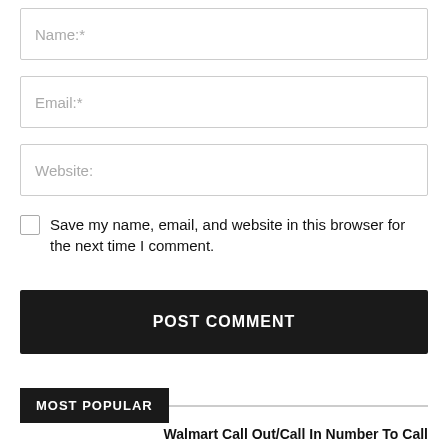Name:*
Email:*
Website:
Save my name, email, and website in this browser for the next time I comment.
POST COMMENT
MOST POPULAR
Walmart Call Out/Call In Number To Call